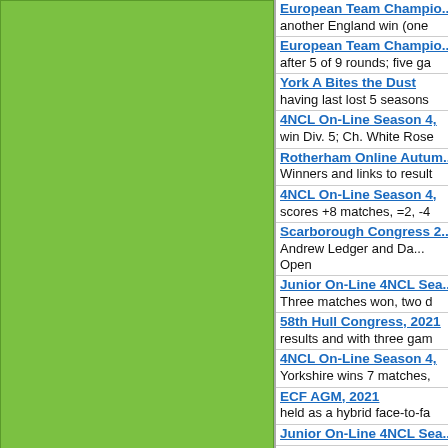[Figure (other): Large green rectangle panel on the left side of the page]
European Team Champio... / another England win (one
European Team Champio... / after 5 of 9 rounds; five ga
York A Bites the Dust / having last lost 5 seasons
4NCL On-Line Season 4, / win Div. 5; Ch. White Rose
Rotherham Online Autum... / Winners and links to result
4NCL On-Line Season 4, / scores +8 matches, =2, -4
Scarborough Congress 2... / Andrew Ledger and Da... / Open
Junior On-Line 4NCL Sea... / Three matches won, two d
58th Hull Congress, 2021 / results and with three gam
4NCL On-Line Season 4, / Yorkshire wins 7 matches,
ECF AGM, 2021 / held as a hybrid face-to-fa
Junior On-Line 4NCL Sea...